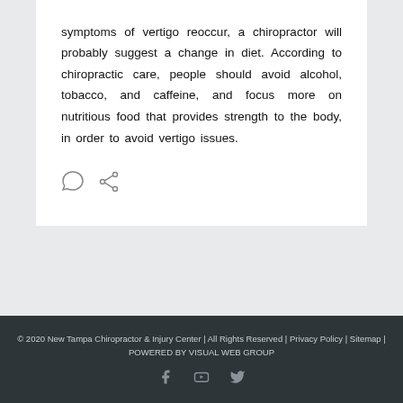symptoms of vertigo reoccur, a chiropractor will probably suggest a change in diet. According to chiropractic care, people should avoid alcohol, tobacco, and caffeine, and focus more on nutritious food that provides strength to the body, in order to avoid vertigo issues.
[Figure (other): Comment bubble icon and share/network icon buttons]
© 2020 New Tampa Chiropractor & Injury Center | All Rights Reserved | Privacy Policy | Sitemap | POWERED BY VISUAL WEB GROUP